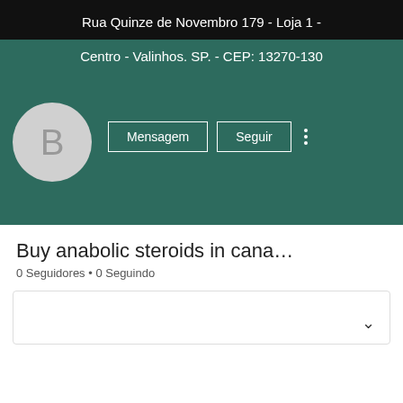Rua Quinze de Novembro 179 - Loja 1 -
Centro - Valinhos. SP. - CEP: 13270-130
[Figure (screenshot): Social media profile page with avatar showing letter B, Mensagem and Seguir buttons, and three-dot menu on teal background]
Buy anabolic steroids in cana…
0 Seguidores • 0 Seguindo
[Figure (other): Collapsed content box with chevron/down arrow]